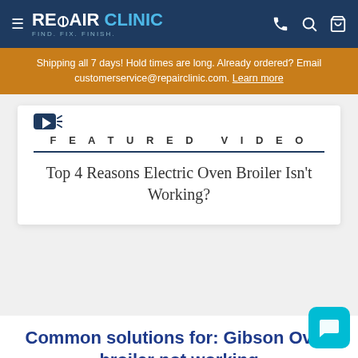REPAIR CLINIC — FIND. FIX. FINISH.
Shipping all 7 days! Hold times are long. Already ordered? Email customerservice@repairclinic.com. Learn more
FEATURED VIDEO
Top 4 Reasons Electric Oven Broiler Isn't Working?
Common solutions for: Gibson Oven broiler not working
Most Common Solution